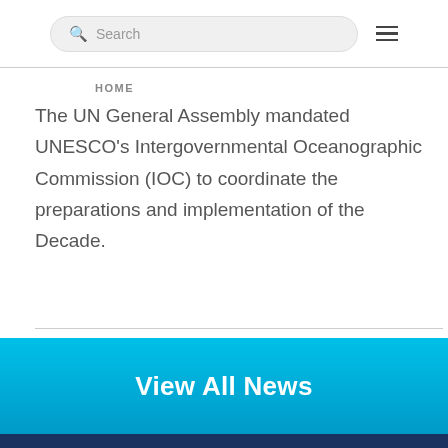Search HOME
The UN General Assembly mandated UNESCO's Intergovernmental Oceanographic Commission (IOC) to coordinate the preparations and implementation of the Decade.
View All News